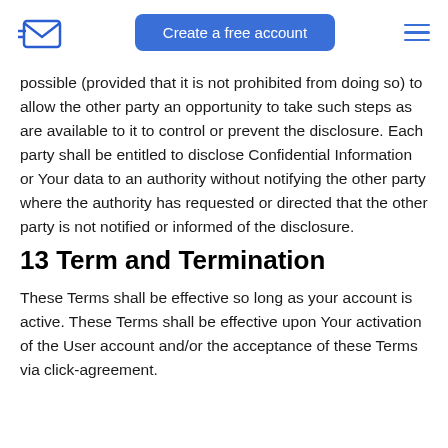Create a free account
possible (provided that it is not prohibited from doing so) to allow the other party an opportunity to take such steps as are available to it to control or prevent the disclosure. Each party shall be entitled to disclose Confidential Information or Your data to an authority without notifying the other party where the authority has requested or directed that the other party is not notified or informed of the disclosure.
13 Term and Termination
These Terms shall be effective so long as your account is active. These Terms shall be effective upon Your activation of the User account and/or the acceptance of these Terms via click-agreement.